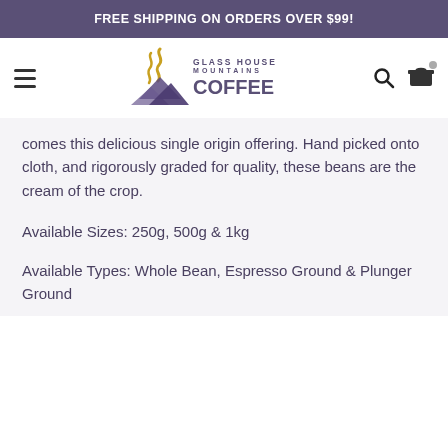FREE SHIPPING ON ORDERS OVER $99!
[Figure (logo): Glass House Mountains Coffee logo with stylized steam/mountain graphic]
comes this delicious single origin offering. Hand picked onto cloth, and rigorously graded for quality, these beans are the cream of the crop.
Available Sizes: 250g, 500g & 1kg
Available Types: Whole Bean, Espresso Ground & Plunger Ground